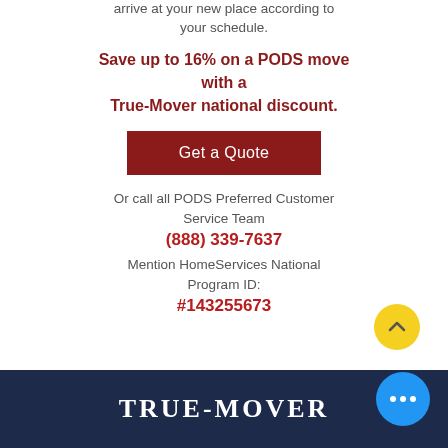arrive at your new place according to your schedule.
Save up to 16% on a PODS move with a True-Mover national discount.
Get a Quote
Or call all PODS Preferred Customer Service Team (888) 339-7637 Mention HomeServices National Program ID: #143255673
[Figure (logo): True-Mover logo on dark navy background]